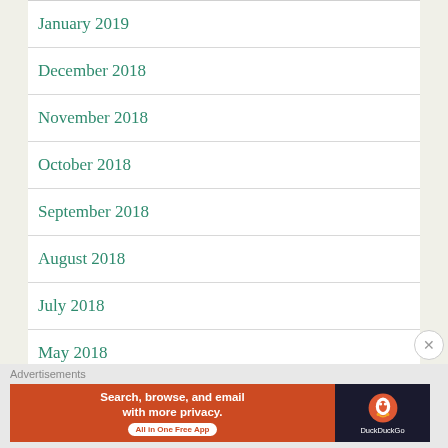January 2019
December 2018
November 2018
October 2018
September 2018
August 2018
July 2018
May 2018
Advertisements
Search, browse, and email with more privacy. All in One Free App DuckDuckGo